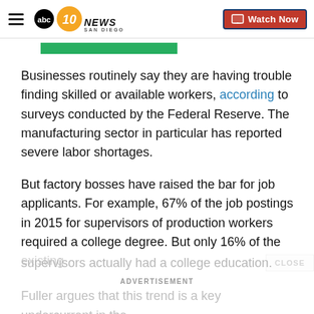10 NEWS SAN DIEGO | Watch Now
Businesses routinely say they are having trouble finding skilled or available workers, according to surveys conducted by the Federal Reserve. The manufacturing sector in particular has reported severe labor shortages.
But factory bosses have raised the bar for job applicants. For example, 67% of the job postings in 2015 for supervisors of production workers required a college degree. But only 16% of the existing supervisors actually had a college education.
Fuller argues that this trend is a key undercurrent in the
ADVERTISEMENT